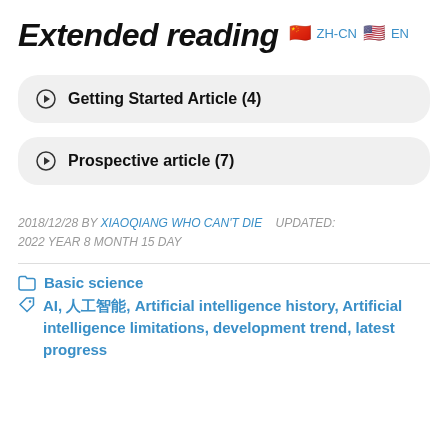Extended reading
Getting Started Article (4)
Prospective article (7)
2018/12/28 BY XIAOQIANG WHO CAN'T DIE   UPDATED: 2022 YEAR 8 MONTH 15 DAY
Basic science
AI, 人工智能, Artificial intelligence history, Artificial intelligence limitations, development trend, latest progress